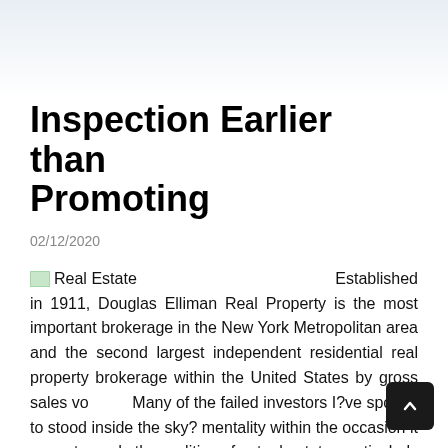Inspection Earlier than Promoting
02/12/2020
Real Estate   Established in 1911, Douglas Elliman Real Property is the most important brokerage in the New York Metropolitan area and the second largest independent residential real property brokerage within the United States by gross sales vo... Many of the failed investors I?ve spoken to stood inside the sky? mentality within the occasion it came towards the realities of actual estate, particularly relating to